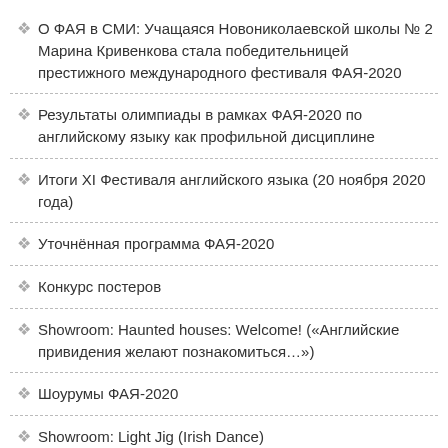О ФАЯ в СМИ: Учащаяся Новониколаевской школы № 2 Марина Кривенкова стала победительницей престижного международного фестиваля ФАЯ-2020
Результаты олимпиады в рамках ФАЯ-2020 по английскому языку как профильной дисциплине
Итоги XI Фестиваля английского языка (20 ноября 2020 года)
Уточнённая программа ФАЯ-2020
Конкурс постеров
Showroom: Haunted houses: Welcome! («Английские привидения желают познакомиться…»)
Шоурумы ФАЯ-2020
Showroom: Light Jig (Irish Dance)
Showroom: Rudyard Kipling — Just So Stories (Drama Performance Videos)